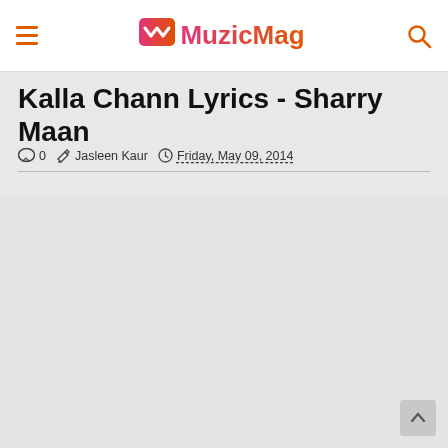MuzicMag
Kalla Chann Lyrics - Sharry Maan
0   Jasleen Kaur   Friday, May 09, 2014